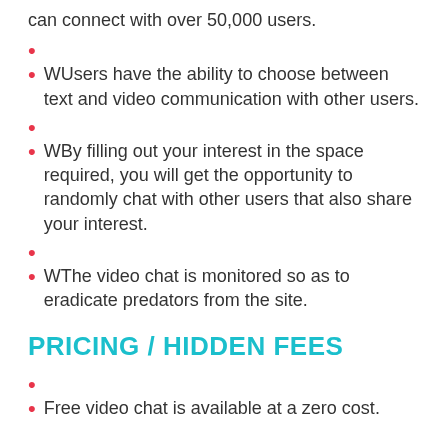can connect with over 50,000 users.
WUsers have the ability to choose between text and video communication with other users.
WBy filling out your interest in the space required, you will get the opportunity to randomly chat with other users that also share your interest.
WThe video chat is monitored so as to eradicate predators from the site.
PRICING / HIDDEN FEES
Free video chat is available at a zero cost.